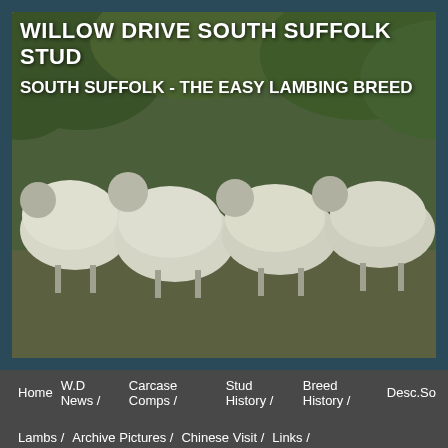[Figure (photo): Header banner with photograph of South Suffolk sheep (white woolly sheep) in a field with green foliage background. Dark blue-gray border framing.]
WILLOW DRIVE SOUTH SUFFOLK STUD
SOUTH SUFFOLK - THE EASY LAMBING BREED
Home   W.D News /   Carcase Comps /   Stud History /   Breed History /   Desc.So   Lambs /   Archive Pictures /   Chinese Visit /   Links /
Willow Drive
South Suffolk Sheep S
join our Face Book page -